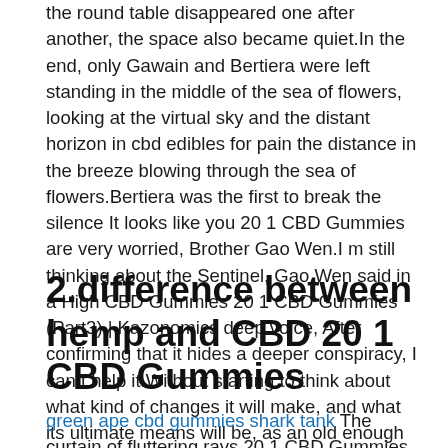the round table disappeared one after another, the space also became quiet.In the end, only Gawain and Bertiera were left standing in the middle of the sea of flowers, looking at the virtual sky and the distant horizon in cbd edibles for pain the distance in the breeze blowing through the sea of flowers.Bertiera was the first to break the silence It looks like you 20 1 CBD Gummies are very worried, Brother Gao Wen.I m still thinking about the Sentinel, Gao Wen said in a High CBD Gummies 20 1 CBD Gummies (Part3) | Kazonomics deep voice, After confirming that it hides a deeper conspiracy, I can t help it.Without starting to think about what kind of changes it will make, and what its ultimate means will be, as an old enough mind, its knowledge and cards are far beyond our comprehension.
2.difference between hemp and CBD 20 1 CBD Gummies
green ape cbd gummies shark tank The curtain of fluttering rays 20 1 CBD Gummies of light was continuous in the sky, but this beautiful